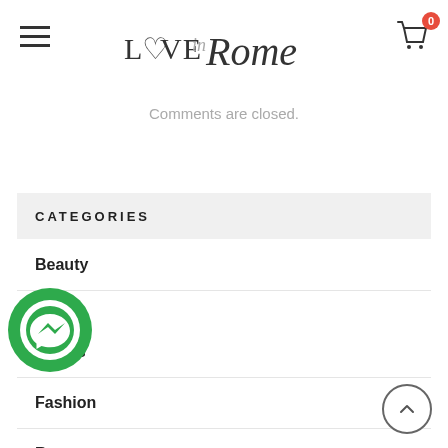Love in Rome — navigation header with logo and cart
Comments are closed.
CATEGORIES
Beauty
Colors
Fashion
Rome
[Figure (illustration): Facebook Messenger floating button — green circle with white messenger icon]